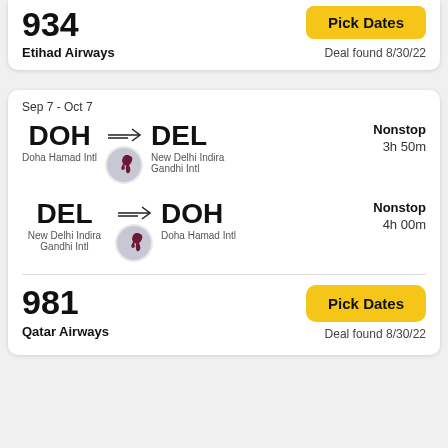934
Pick Dates
Etihad Airways
Deal found 8/30/22
Sep 7 - Oct 7
DOH → DEL | Doha Hamad Intl → New Delhi Indira Gandhi Intl | Nonstop | 3h 50m
DEL → DOH | New Delhi Indira Gandhi Intl → Doha Hamad Intl | Nonstop | 4h 00m
981
Pick Dates
Qatar Airways
Deal found 8/30/22